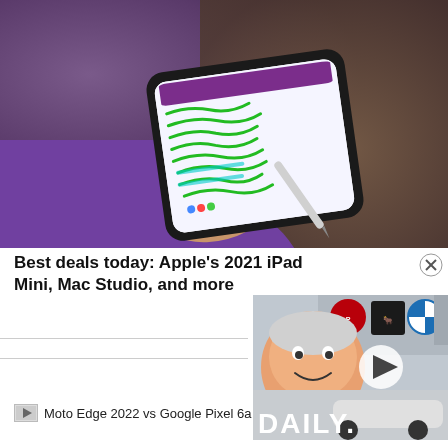[Figure (photo): Person holding a smartphone/tablet with a stylus, showing a note-taking app with green handwritten strokes on screen. Background is blurred brown. Person wearing purple top.]
Best deals today: Apple's 2021 iPad Mini, Mac Studio, and more
[Figure (screenshot): Video thumbnail showing a man smiling with car brand logos (Porsche, Lamborghini, BMW, Mercedes) and toy cars, with text 'DAILY.' and a play button overlay. Close button (X) in top right.]
Moto Edge 2022 vs Google Pixel 6a